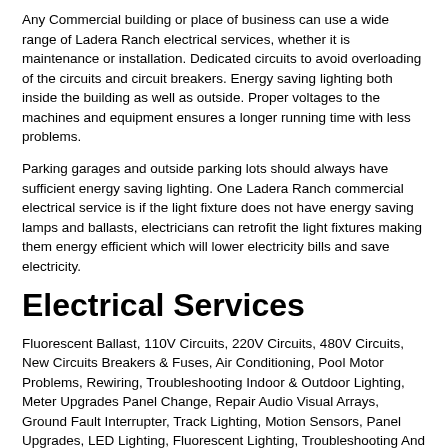Any Commercial building or place of business can use a wide range of Ladera Ranch electrical services, whether it is maintenance or installation. Dedicated circuits to avoid overloading of the circuits and circuit breakers. Energy saving lighting both inside the building as well as outside. Proper voltages to the machines and equipment ensures a longer running time with less problems.
Parking garages and outside parking lots should always have sufficient energy saving lighting. One Ladera Ranch commercial electrical service is if the light fixture does not have energy saving lamps and ballasts, electricians can retrofit the light fixtures making them energy efficient which will lower electricity bills and save electricity.
Electrical Services
Fluorescent Ballast, 110V Circuits, 220V Circuits, 480V Circuits, New Circuits Breakers & Fuses, Air Conditioning, Pool Motor Problems, Rewiring, Troubleshooting Indoor & Outdoor Lighting, Meter Upgrades Panel Change, Repair Audio Visual Arrays, Ground Fault Interrupter, Track Lighting, Motion Sensors, Panel Upgrades, LED Lighting, Fluorescent Lighting, Troubleshooting And Much More!